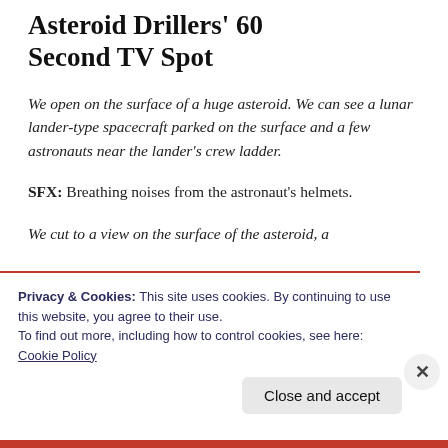Asteroid Drillers' 60 Second TV Spot
We open on the surface of a huge asteroid. We can see a lunar lander-type spacecraft parked on the surface and a few astronauts near the lander's crew ladder.
SFX: Breathing noises from the astronaut's helmets.
We cut to a view on the surface of the asteroid, a
Privacy & Cookies: This site uses cookies. By continuing to use this website, you agree to their use.
To find out more, including how to control cookies, see here: Cookie Policy